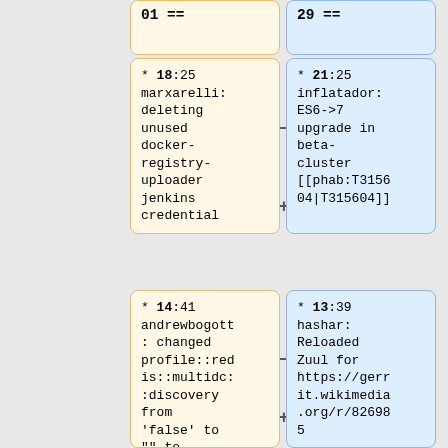01 ==
29 ==
* 18:25 marxarelli: deleting unused docker-registry-uploader jenkins credential
* 21:25 inflatador: ES6->7 upgrade in beta-cluster [[phab:T315604|T315604]]
* 14:41 andrewbogott: changed profile::redis::multidc::discovery from 'false' to "" to comply with
* 13:39 hashar: Reloaded Zuul for https://gerrit.wikimedia.org/r/826985